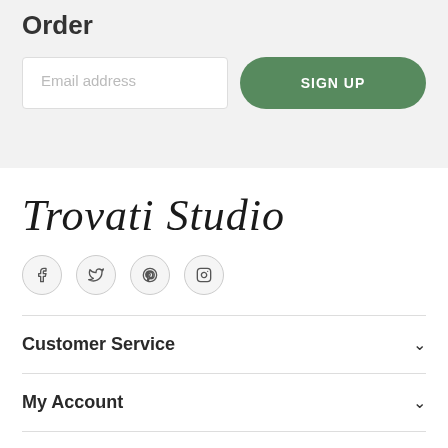Order
Email address
SIGN UP
[Figure (logo): Trovati Studio cursive script logo]
[Figure (infographic): Social media icons: Facebook, Twitter, Pinterest, Instagram in circular outlines]
Customer Service
My Account